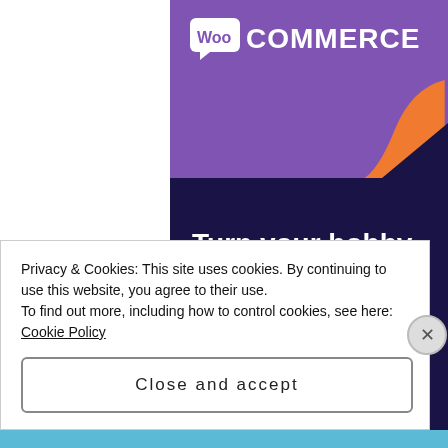[Figure (screenshot): WooCommerce promotional banner with purple/dark-navy background showing WooCommerce logo and tagline 'Turn your hobby into a business in 8 steps' with orange decorative shape]
Privacy & Cookies: This site uses cookies. By continuing to use this website, you agree to their use.
To find out more, including how to control cookies, see here: Cookie Policy
Close and accept